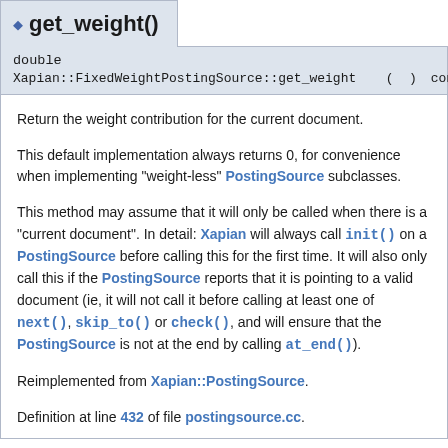get_weight()
double
Xapian::FixedWeightPostingSource::get_weight ( ) const [virtual]
Return the weight contribution for the current document.
This default implementation always returns 0, for convenience when implementing "weight-less" PostingSource subclasses.
This method may assume that it will only be called when there is a "current document". In detail: Xapian will always call init() on a PostingSource before calling this for the first time. It will also only call this if the PostingSource reports that it is pointing to a valid document (ie, it will not call it before calling at least one of next(), skip_to() or check(), and will ensure that the PostingSource is not at the end by calling at_end()).
Reimplemented from Xapian::PostingSource.
Definition at line 432 of file postingsource.cc.